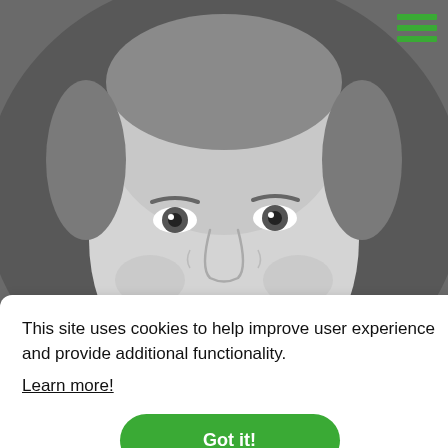[Figure (photo): Black and white portrait photo of a middle-aged smiling man with short hair, against a dark grey background.]
This site uses cookies to help improve user experience and provide additional functionality.
Learn more!
Got it!
130 kgs»